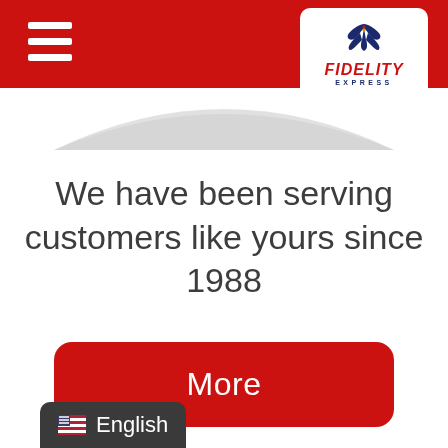[Figure (logo): Fidelity Express logo with eagle graphic, red FIDELITY text in italic, blue EXPRESS text below, on white rounded rectangle background. Red header bar with hamburger menu icon on left.]
[Figure (illustration): Arc/wave decorative element in gray below the red header bar]
We have been serving customers like yours since 1988
[Figure (other): Red rounded rectangle button labeled 'More' in white text]
English